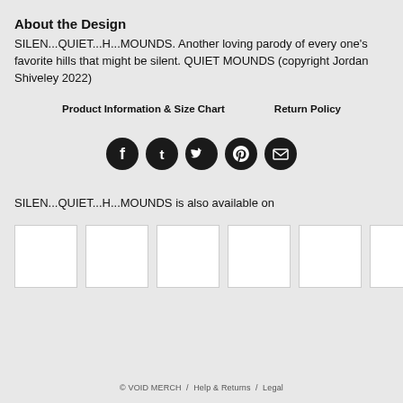About the Design
SILEN...QUIET...H...MOUNDS. Another loving parody of every one's favorite hills that might be silent. QUIET MOUNDS (copyright Jordan Shiveley 2022)
Product Information & Size Chart    Return Policy
[Figure (infographic): Five social media share icons (Facebook, Tumblr, Twitter, Pinterest, Email) as dark circular buttons in a row]
SILEN...QUIET...H...MOUNDS is also available on
[Figure (infographic): Row of six white thumbnail product image placeholders]
© VOID MERCH /  Help & Returns  /  Legal